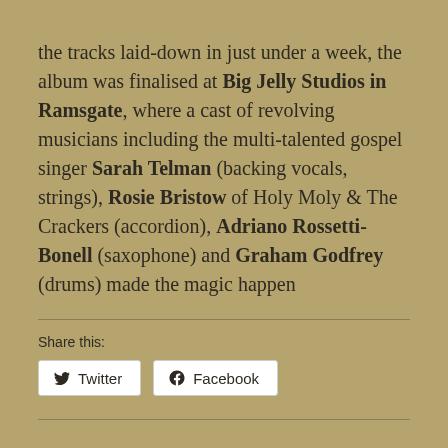the tracks laid-down in just under a week, the album was finalised at Big Jelly Studios in Ramsgate, where a cast of revolving musicians including the multi-talented gospel singer Sarah Telman (backing vocals, strings), Rosie Bristow of Holy Moly & The Crackers (accordion), Adriano Rossetti-Bonell (saxophone) and Graham Godfrey (drums) made the magic happen
Share this:
[Figure (other): Twitter and Facebook share buttons]